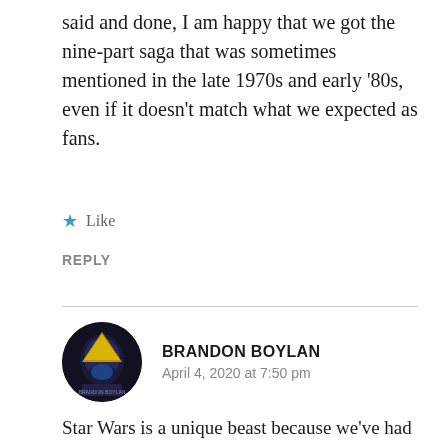said and done, I am happy that we got the nine-part saga that was sometimes mentioned in the late 1970s and early '80s, even if it doesn't match what we expected as fans.
Like
REPLY
BRANDON BOYLAN
April 4, 2020 at 7:50 pm
Star Wars is a unique beast because we've had time to set expectations for the series. We don't really get that often. We don't with marvel or dc, and it wasn't really prevalent in Harry Potter. So